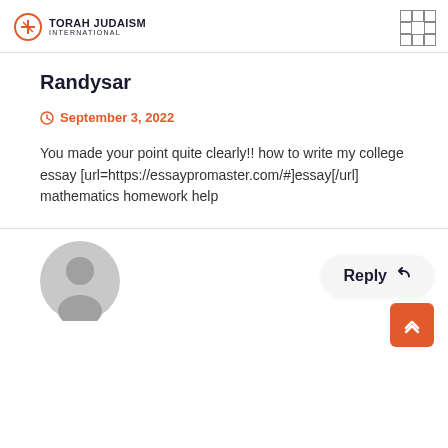TORAH JUDAISM INTERNATIONAL
Randysar
September 3, 2022
You made your point quite clearly!! how to write my college essay [url=https://essaypromaster.com/#]essay[/url] mathematics homework help
Reply